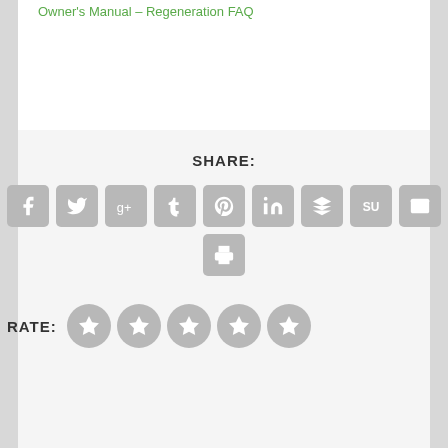Owner's Manual – Regeneration FAQ
[Figure (infographic): Social share buttons: Facebook, Twitter, Google+, Tumblr, Pinterest, LinkedIn, Buffer, StumbleUpon, Email, Print icons in gray rounded squares, followed by a RATE section with 5 gray star circles]
SHARE:
RATE: